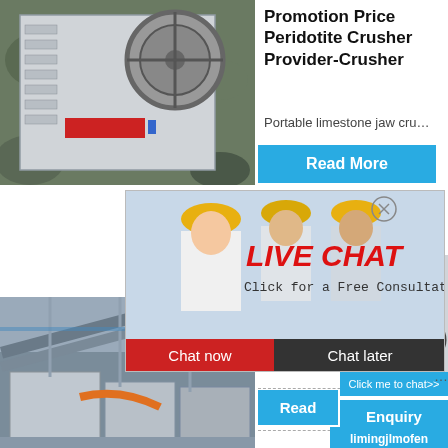[Figure (photo): Industrial jaw crusher machine with large flywheel, red label panel, set against rocky background]
Promotion Price Peridotite Crusher Provider-Crusher
Portable limestone jaw cru…
Read More
[Figure (photo): Live chat popup overlay showing three workers in yellow hard hats, with LIVE CHAT heading in red italic text and Click for a Free Consultation subtitle. Chat now (red) and Chat later (dark) buttons at bottom.]
LIVE CHAT
Click for a Free Consultation
Chat now
Chat later
hour online
[Figure (photo): Industrial conveyor belt and processing machinery in a factory setting]
angola
2020-11-
[Figure (photo): Compact crusher machine with red flywheel on right side panel]
Click me to chat>>
Read
Enquiry
limingjlmofen